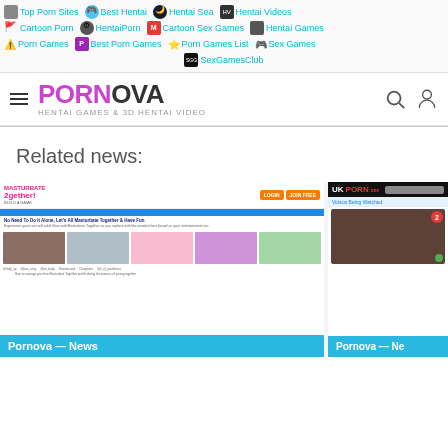Top Porn Sites | Best Hentai | Hentai Sea | Hentai Videos | Cartoon Porn | HentaiPorn | Cartoon Sex Games | Hentai Games | Porn Games | Best Porn Games | Porn Games List | Sex Games | SexGamesClub
[Figure (screenshot): PORNOVA site header with hamburger menu, logo, search and user icons. Tagline: HENTAI GAMES & 3D HENTAI VIDEO]
Related news:
[Figure (screenshot): Screenshot of Masturbate2gether website with thumbnails and navigation. Overlay label: Pornova — News]
[Figure (screenshot): Screenshot of UKPorn XXX website with video thumbnails. Overlay label: Pornova — Ne]